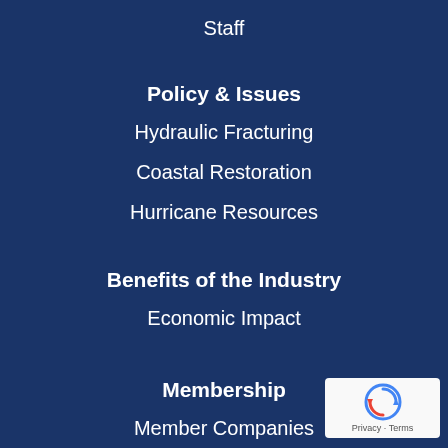Staff
Policy & Issues
Hydraulic Fracturing
Coastal Restoration
Hurricane Resources
Benefits of the Industry
Economic Impact
Membership
Member Companies
[Figure (logo): reCAPTCHA badge with circular arrow icon and Privacy - Terms text]